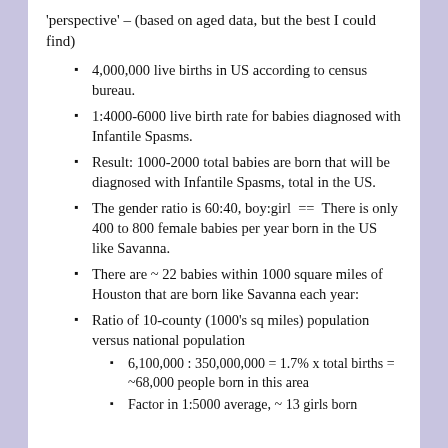'perspective' – (based on aged data, but the best I could find)
4,000,000 live births in US according to census bureau.
1:4000-6000 live birth rate for babies diagnosed with Infantile Spasms.
Result: 1000-2000 total babies are born that will be diagnosed with Infantile Spasms, total in the US.
The gender ratio is 60:40, boy:girl == There is only 400 to 800 female babies per year born in the US like Savanna.
There are ~ 22 babies within 1000 square miles of Houston that are born like Savanna each year:
Ratio of 10-county (1000's sq miles) population versus national population
6,100,000 : 350,000,000 = 1.7% x total births = ~68,000 people born in this area
Factor in 1:5000 average, ~ 13 girls born